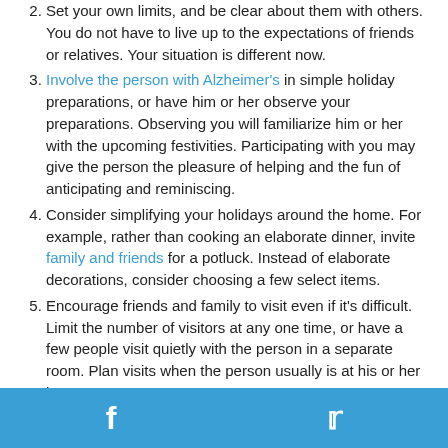Set your own limits, and be clear about them with others. You do not have to live up to the expectations of friends or relatives. Your situation is different now.
Involve the person with Alzheimer's in simple holiday preparations, or have him or her observe your preparations. Observing you will familiarize him or her with the upcoming festivities. Participating with you may give the person the pleasure of helping and the fun of anticipating and reminiscing.
Consider simplifying your holidays around the home. For example, rather than cooking an elaborate dinner, invite family and friends for a potluck. Instead of elaborate decorations, consider choosing a few select items.
Encourage friends and family to visit even if it's difficult. Limit the number of visitors at any one time, or have a few people visit quietly with the person in a separate room. Plan visits when the person usually is at his or her best.
Prepare quiet distractions to use, such as a family photo album, if the person with Alzheimer's becomes upset or
Facebook Twitter